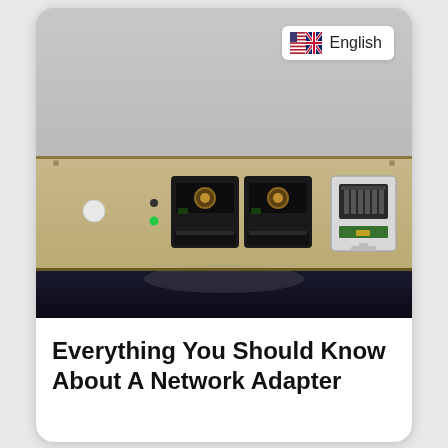[Figure (photo): Close-up photo of a network adapter panel showing two optical fiber SFP ports (black square connectors) and one RJ45 Ethernet port on a beige/tan metal chassis. There are also small LED indicator circles visible. The background above the panel is light gray, and below is dark blue-black.]
Everything You Should Know About A Network Adapter